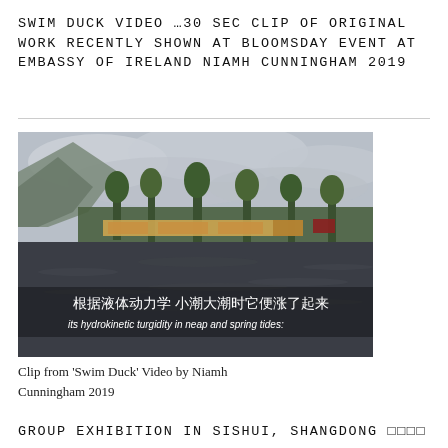SWIM DUCK VIDEO …30 SEC CLIP OF ORIGINAL WORK RECENTLY SHOWN AT BLOOMSDAY EVENT AT EMBASSY OF IRELAND NIAMH CUNNINGHAM 2019
[Figure (photo): Video still from 'Swim Duck' showing a flooded landscape with mountains in background, trees, a train/vehicles visible, dark water in foreground. Chinese text overlay: 根据液体动力学 小潮大潮时它便涨了起来 and English subtitle: its hydrokinetic turgidity in neap and spring tides:]
Clip from 'Swim Duck' Video by Niamh Cunningham 2019
GROUP EXHIBITION IN SISHUI, SHANGDONG □□□□